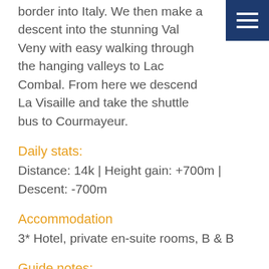border into Italy. We then make a descent into the stunning Val Veny with easy walking through the hanging valleys to Lac Combal. From here we descend La Visaille and take the shuttle bus to Courmayeur.
Daily stats:
Distance: 14k | Height gain: +700m | Descent: -700m
Accommodation
3* Hotel, private en-suite rooms, B & B
Guide notes:
One of my favourite days on the Tour du Mont Blanc, the views from the Col du Seigne is second to none! Once you are at the col & if the weather is right rest for a